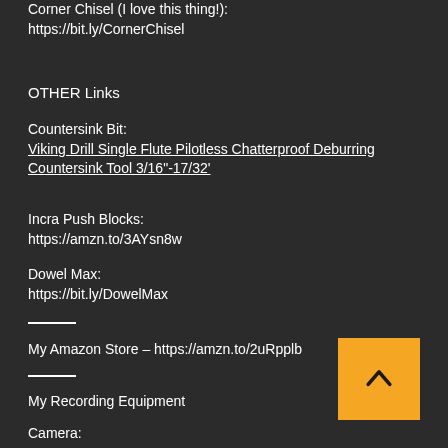Corner Chisel (I love this thing!): https://bit.ly/CornerChisel
OTHER Links
Countersink Bit:
Viking Drill Single Flute Pilotless Chatterproof Deburring Countersink Tool 3/16"-17/32'
Incra Push Blocks:
https://amzn.to/3AYsn8w
Dowel Max:
https://bit.ly/DowelMax
My Amazon Store – https://amzn.to/2uRpplb
My Recording Equipment
Camera: